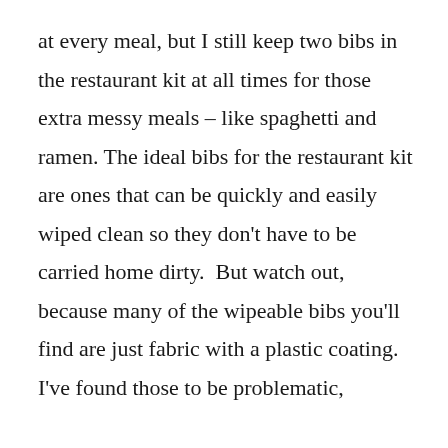at every meal, but I still keep two bibs in the restaurant kit at all times for those extra messy meals – like spaghetti and ramen. The ideal bibs for the restaurant kit are ones that can be quickly and easily wiped clean so they don't have to be carried home dirty.  But watch out, because many of the wipeable bibs you'll find are just fabric with a plastic coating. I've found those to be problematic,